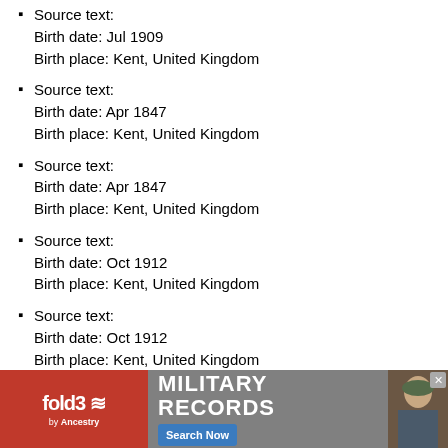Source text:
Birth date: Jul 1909
Birth place: Kent, United Kingdom
Source text:
Birth date: Apr 1847
Birth place: Kent, United Kingdom
Source text:
Birth date: Apr 1847
Birth place: Kent, United Kingdom
Source text:
Birth date: Oct 1912
Birth place: Kent, United Kingdom
Source text:
Birth date: Oct 1912
Birth place: Kent, United Kingdom
Source text:
Birth date: Mar 1911
Birth place: Kent, United Kingdom
Source text:
Birth date: Mar 1911
Birth place: Kent, United Kingdom
Source text:
[Figure (infographic): fold3 by Ancestry advertisement banner for Military Records with Search Now button and soldier photo]